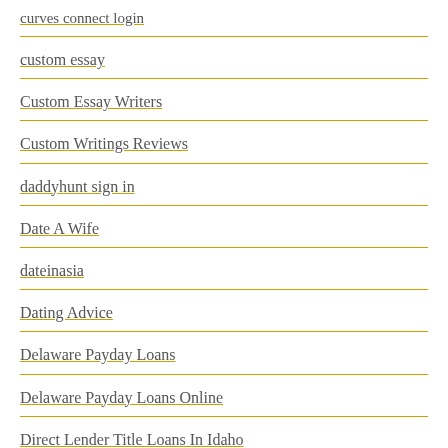curves connect login
custom essay
Custom Essay Writers
Custom Writings Reviews
daddyhunt sign in
Date A Wife
dateinasia
Dating Advice
Delaware Payday Loans
Delaware Payday Loans Online
Direct Lender Title Loans In Idaho
direct online installment loans
directv genie hookup diagram